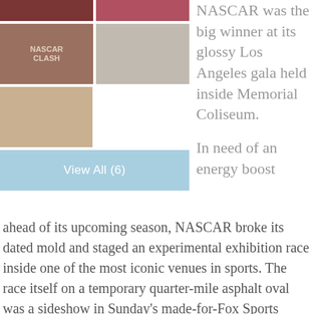[Figure (photo): Top row: two NASCAR racing photos side by side]
[Figure (photo): Middle row: NASCAR Clash logo/victory celebration left, aerial view of oval track right]
[Figure (photo): Bottom row left: NASCAR car #22 on track with driver celebrating on roof]
View All (6)
NASCAR was the big winner at its glossy Los Angeles gala held inside Memorial Coliseum.
In need of an energy boost ahead of its upcoming season, NASCAR broke its dated mold and staged an experimental exhibition race inside one of the most iconic venues in sports. The race itself on a temporary quarter-mile asphalt oval was a sideshow in Sunday's made-for-Fox Sports